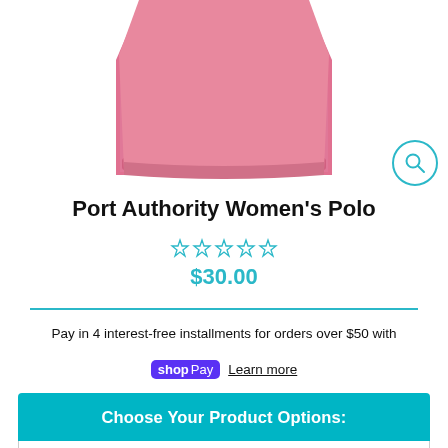[Figure (photo): Pink polo shirt product photo, lower half visible, cropped at top]
Port Authority Women's Polo
☆☆☆☆☆ (star rating row, 0 of 5 stars, cyan color)
$30.00
Pay in 4 interest-free installments for orders over $50 with shop Pay Learn more
Choose Your Product Options: